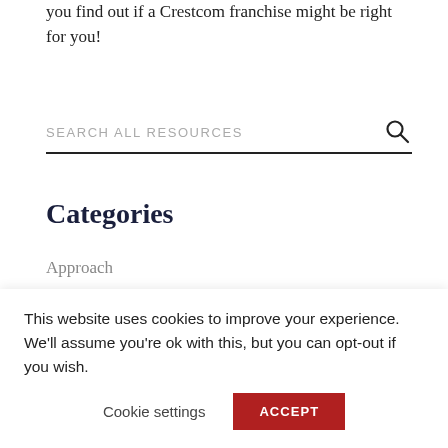you find out if a Crestcom franchise might be right for you!
SEARCH ALL RESOURCES
Categories
Approach
Case Studies
Featured
Leadership Articles
Multi-Generational Leadership
This website uses cookies to improve your experience. We'll assume you're ok with this, but you can opt-out if you wish.
Cookie settings
ACCEPT